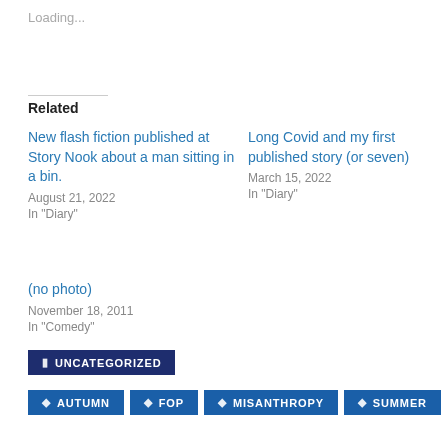Loading...
Related
New flash fiction published at Story Nook about a man sitting in a bin.
August 21, 2022
In "Diary"
Long Covid and my first published story (or seven)
March 15, 2022
In "Diary"
(no photo)
November 18, 2011
In "Comedy"
UNCATEGORIZED
AUTUMN
FOP
MISANTHROPY
SUMMER